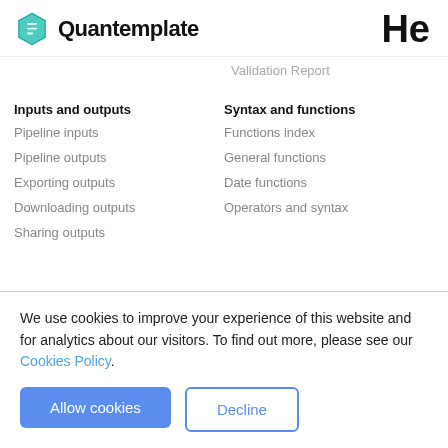Quantemplate | He
Validation Report
Inputs and outputs
Pipeline inputs
Pipeline outputs
Exporting outputs
Downloading outputs
Sharing outputs
Syntax and functions
Functions index
General functions
Date functions
Operators and syntax
We use cookies to improve your experience of this website and for analytics about our visitors. To find out more, please see our Cookies Policy.
Allow cookies
Decline